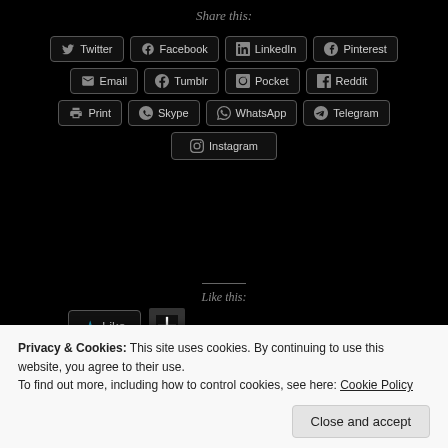Share this:
[Figure (screenshot): Social sharing buttons: Twitter, Facebook, LinkedIn, Pinterest, Email, Tumblr, Pocket, Reddit, Print, Skype, WhatsApp, Telegram, Instagram]
Like this:
[Figure (screenshot): Like button with star icon and blogger thumbnail]
One blogger likes this.
[Figure (screenshot): Read More button]
Privacy & Cookies: This site uses cookies. By continuing to use this website, you agree to their use.
To find out more, including how to control cookies, see here: Cookie Policy
Close and accept